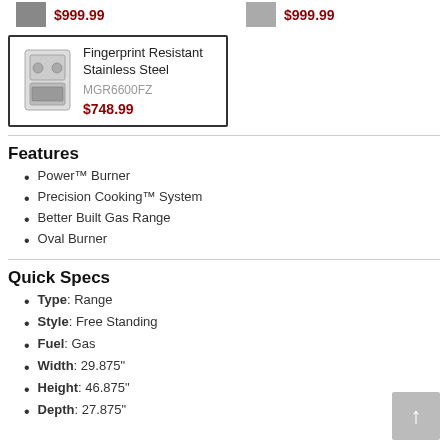[Figure (photo): Small stove thumbnail image (top strip left)]
$999.99
[Figure (photo): Small stove thumbnail image (top strip right)]
$999.99
[Figure (photo): Stainless steel gas range stove product image]
Fingerprint Resistant Stainless Steel
MGR6600FZ
$748.99
Features
Power™ Burner
Precision Cooking™ System
Better Built Gas Range
Oval Burner
Quick Specs
Type: Range
Style: Free Standing
Fuel: Gas
Width: 29.875"
Height: 46.875"
Depth: 27.875"